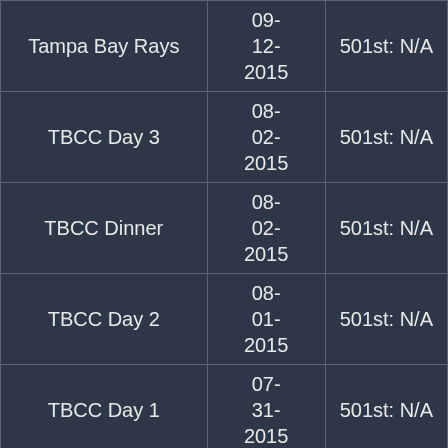| Tampa Bay Rays | 09-12-2015 | 501st: N/A |
| TBCC Day 3 | 08-02-2015 | 501st: N/A |
| TBCC Dinner | 08-02-2015 | 501st: N/A |
| TBCC Day 2 | 08-01-2015 | 501st: N/A |
| TBCC Day 1 | 07-31-2015 | 501st: N/A |
|  |  |  |